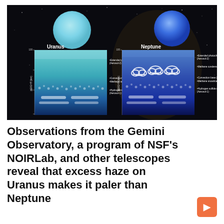[Figure (infographic): Side-by-side diagram comparing the atmospheric layers of Uranus (left, pale blue-green) and Neptune (right, deep blue) against a starry background. Each planet is shown as a sphere above a cross-section diagram of its atmosphere, with labeled layers including photochemical haze, methane condensation, convection base, methane snow/ice, and hydrogen sulfide condensation. Cloud icons are shown in Neptune's diagram.]
Observations from the Gemini Observatory, a program of NSF's NOIRLab, and other telescopes reveal that excess haze on Uranus makes it paler than Neptune